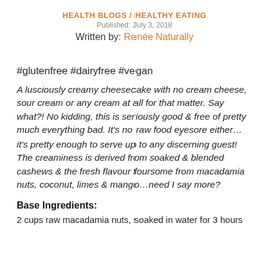HEALTH BLOGS / HEALTHY EATING
Published: July 3, 2018
Written by: Renée Naturally
#glutenfree #dairyfree #vegan
A lusciously creamy cheesecake with no cream cheese, sour cream or any cream at all for that matter. Say what?! No kidding, this is seriously good & free of pretty much everything bad. It's no raw food eyesore either…it's pretty enough to serve up to any discerning guest! The creaminess is derived from soaked & blended cashews & the fresh flavour foursome from macadamia nuts, coconut, limes & mango…need I say more?
Base Ingredients:
2 cups raw macadamia nuts, soaked in water for 3 hours